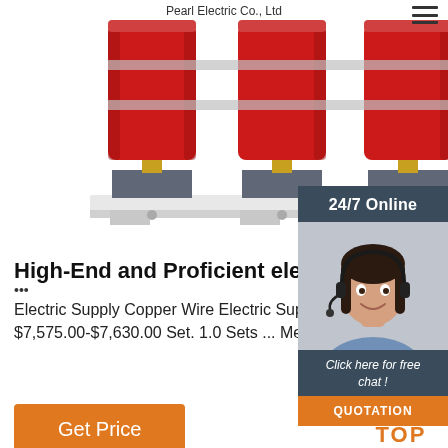Pearl Electric Co., Ltd
[Figure (photo): Industrial dry-type transformer with three red cylindrical coils mounted on a white metal frame, shown against white background.]
[Figure (photo): 24/7 Online customer service panel with a smiling woman wearing a headset. Dark blue header with '24/7 Online', a photo of a customer service representative, text 'Click here for free chat!', and an orange QUOTATION button.]
High-End and Proficient electric equipment
...
Electric Supply Copper Wire Electric Supply 800KVA/11kv 10kv 20kv Oil Immersion Power Transformer. $7,575.00-$7,630.00 Set. 1.0 Sets ... Merchants ...
Get Price